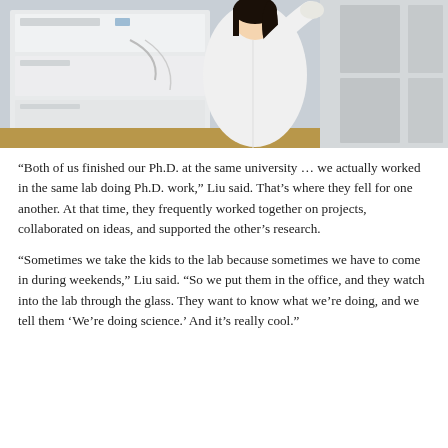[Figure (photo): A woman in a white lab coat and white gloves working with laboratory equipment (appears to be an HPLC or similar analytical instrument). She has dark hair and is reaching toward the machine. The background shows laboratory cabinetry.]
“Both of us finished our Ph.D. at the same university … we actually worked in the same lab doing Ph.D. work,” Liu said. That’s where they fell for one another. At that time, they frequently worked together on projects, collaborated on ideas, and supported the other’s research.
“Sometimes we take the kids to the lab because sometimes we have to come in during weekends,” Liu said. “So we put them in the office, and they watch into the lab through the glass. They want to know what we’re doing, and we tell them ‘We’re doing science.’ And it’s really cool.”